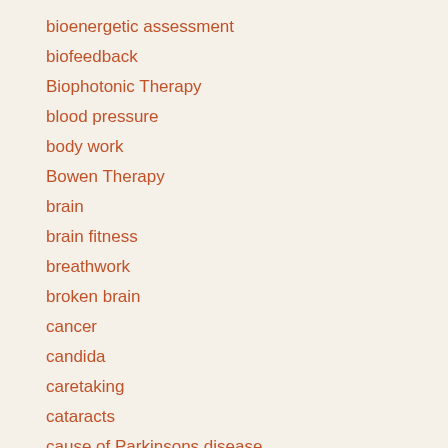bioenergetic assessment
biofeedback
Biophotonic Therapy
blood pressure
body work
Bowen Therapy
brain
brain fitness
breathwork
broken brain
cancer
candida
caretaking
cataracts
cause of Parkinsons disease